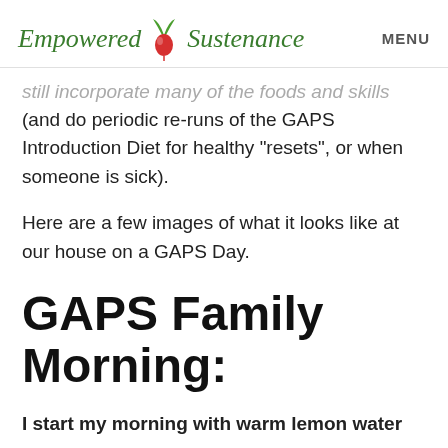Empowered Sustenance   MENU
still incorporate many of the foods and skills (and do periodic re-runs of the GAPS Introduction Diet for healthy “resets”, or when someone is sick).
Here are a few images of what it looks like at our house on a GAPS Day.
GAPS Family Morning:
I start my morning with warm lemon water